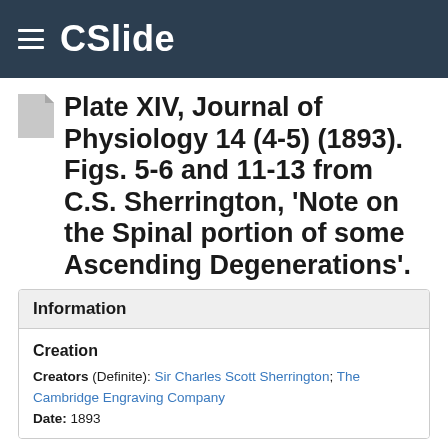CSlide
Plate XIV, Journal of Physiology 14 (4-5) (1893). Figs. 5-6 and 11-13 from C.S. Sherrington, 'Note on the Spinal portion of some Ascending Degenerations'.
Information
Creation
Creators (Definite): Sir Charles Scott Sherrington; The Cambridge Engraving Company
Date: 1893